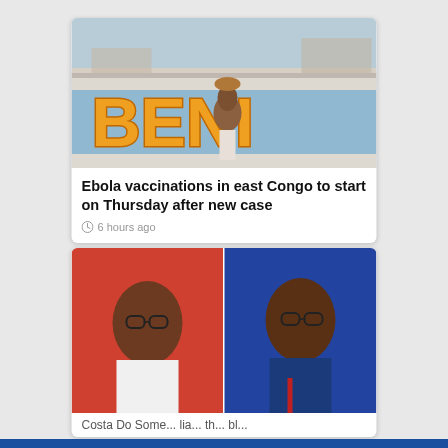[Figure (photo): Photo of a wall in Beni with large orange/yellow letters spelling BENI on a blue background, person walking in front carrying something on their head]
Ebola vaccinations in east Congo to start on Thursday after new case
6 hours ago
[Figure (photo): Two people side by side: a woman in white on a red background (left) and a man in a blue suit with red tie on a blue background (right)]
Costa Do Some... lia... th... bl... b... i...